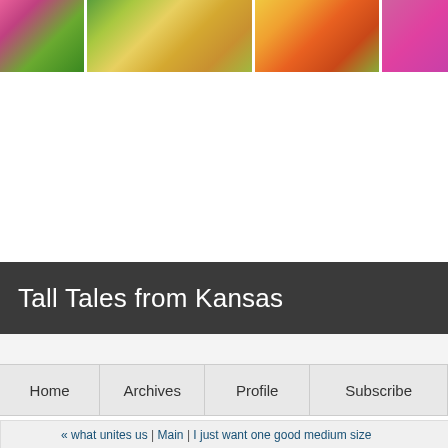[Figure (photo): Colorful flower photo banner across the top of the blog page, showing pink, yellow, orange and green flowers in four segments]
Tall Tales from Kansas
Home | Archives | Profile | Subscribe
« what unites us | Main | I just want one good medium size
06/30/2016
in exactly thirteen days